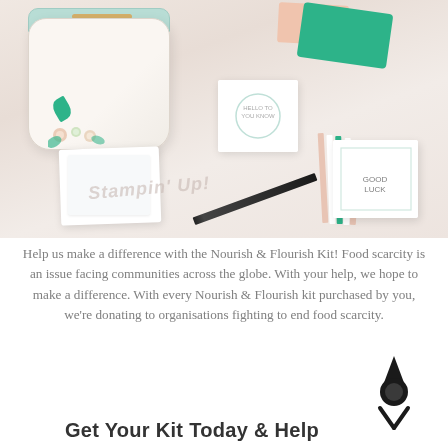[Figure (photo): Photo of a Nourish & Flourish craft/stationery kit laid out on a pink surface, showing a floral patterned bag with mint zipper, greeting cards, a notepad, green and peach paper sheets, a black pen, and various card supplies.]
Help us make a difference with the Nourish & Flourish Kit! Food scarcity is an issue facing communities across the globe. With your help, we hope to make a difference. With every Nourish & Flourish kit purchased by you, we're donating to organisations fighting to end food scarcity.
[Figure (logo): Stampin' Up! arrow/compass logo icon in dark/black color, bottom right corner.]
Get Your Kit Today & Help